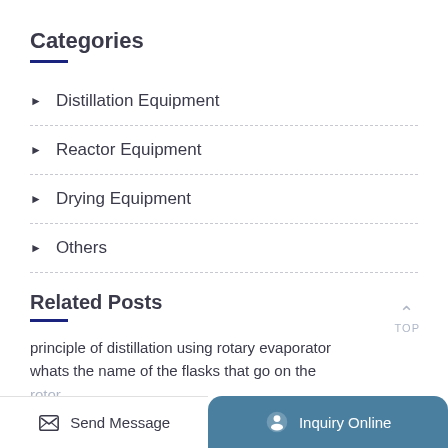Categories
Distillation Equipment
Reactor Equipment
Drying Equipment
Others
Related Posts
principle of distillation using rotary evaporator whats the name of the flasks that go on the rotor...
Send Message | Inquiry Online